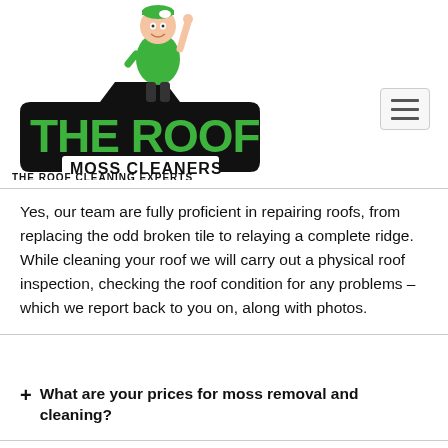[Figure (logo): The Roof Moss Cleaners logo with cartoon man in green uniform pointing upward, bold green and black text reading THE ROOF MOSS CLEANERS, subtitle THE ROOF CLEANING EXPERTS]
Yes, our team are fully proficient in repairing roofs, from replacing the odd broken tile to relaying a complete ridge. While cleaning your roof we will carry out a physical roof inspection, checking the roof condition for any problems – which we report back to you on, along with photos.
+ What are your prices for moss removal and cleaning?
+ How Long Does The Treatment Last For?